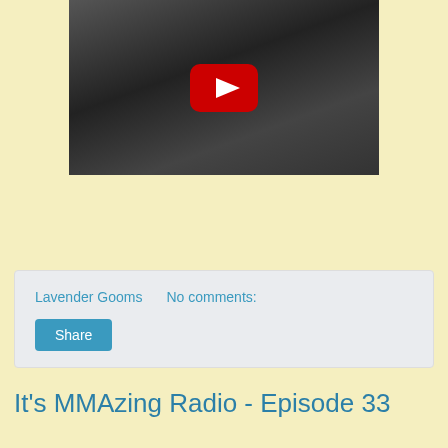[Figure (screenshot): YouTube video thumbnail showing black and white footage of people, with a red YouTube play button overlay in the center]
Lavender Gooms    No comments:
Share
It's MMAzing Radio - Episode 33